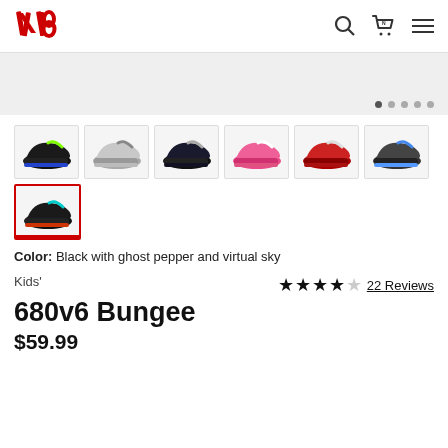[Figure (logo): New Balance red NB logo]
[Figure (screenshot): Gray hero banner with 5 carousel dots]
[Figure (photo): 7 shoe thumbnail images in a grid: black/green, silver/gray, black/navy, pink, red, dark gray/blue, black/teal (selected)]
Color: Black with ghost pepper and virtual sky
Kids'
3.5 stars, 22 Reviews
680v6 Bungee
$59.99